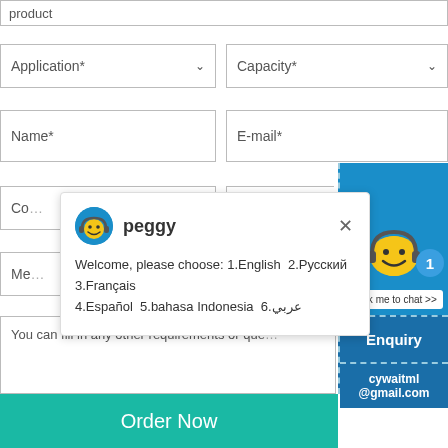[Figure (screenshot): Web form with dropdown fields for Application and Capacity, text fields for Name, E-mail, Country, and Telephone, a textarea for requirements, an Order Now button, and a live chat popup from 'peggy' with language selection message.]
Application*
Capacity*
Name*
E-mail*
Co (Country)
T (Telephone)
You can fill in any other requirements or que
peggy
Welcome, please choose: 1.English  2.Русский 3.Français 4.Español  5.bahasa Indonesia  6.عربي
1
Click me to chat >>
Enquiry
cywaitml @gmail.com
Order Now